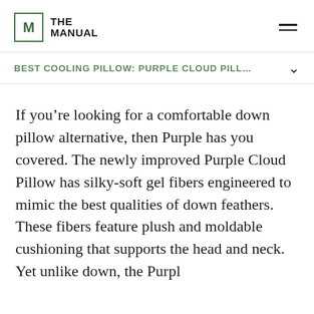THE MANUAL
BEST COOLING PILLOW: PURPLE CLOUD PILL…
If you're looking for a comfortable down pillow alternative, then Purple has you covered. The newly improved Purple Cloud Pillow has silky-soft gel fibers engineered to mimic the best qualities of down feathers. These fibers feature plush and moldable cushioning that supports the head and neck. Yet unlike down, the Purple...